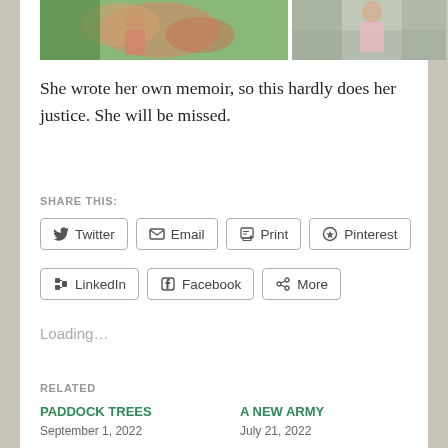[Figure (photo): Two photos side by side: left shows a person with colorful flowers/bouquet, right shows a person in a pink shirt outdoors]
She wrote her own memoir, so this hardly does her justice. She will be missed.
SHARE THIS:
Twitter
Email
Print
Pinterest
LinkedIn
Facebook
More
Loading...
RELATED
PADDOCK TREES
September 1, 2022
In "Australian plants"
A NEW ARMY
July 21, 2022
In "Australian plants"